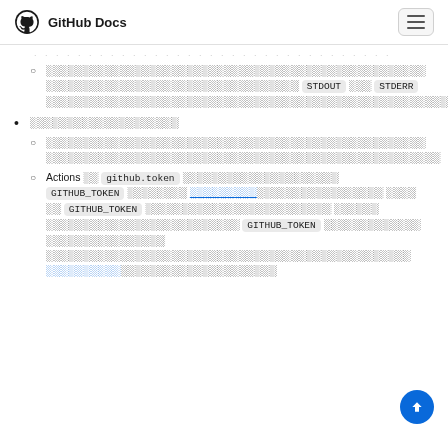GitHub Docs
ปริมาณงาน/การอนุญาตในการเขียนโค้ด — หมายถึงการเข้าถึง STDOUT และ STDERR ที่มีข้อมูลทั้งหมดที่จำเป็นสำหรับการรันโค้ด
ยืนยันตัวตนและการอนุมัติ
รันโค้ดตามคำขอและตรวจสอบสิทธิ์ที่จำเป็นก่อนที่จะรัน
Actions ใช้ github.token ที่มอบหมายโดยสร้าง GITHUB_TOKEN ให้คุณ ซึ่งเป็นลิงก์ที่ใช้ใน GITHUB_TOKEN เพื่อให้สิทธิ์การเข้าถึงที่จำเป็น GITHUB_TOKEN มอบสิทธิ์การเข้าถึงที่จำเป็น ซึ่งเป็นลิงก์สำหรับการเข้าถึง